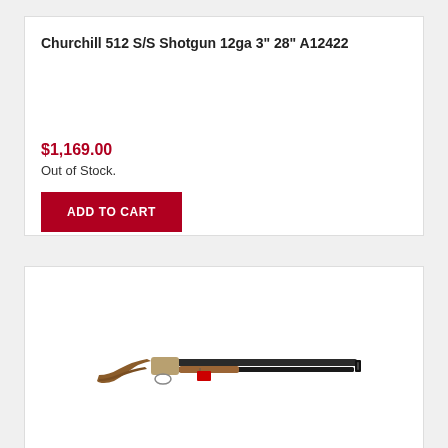Churchill 512 S/S Shotgun 12ga 3" 28" A12422
$1,169.00
Out of Stock.
ADD TO CART
[Figure (photo): Photo of a Churchill 512 over-under shotgun with wooden stock and long barrel, shown in side profile with a red tag hanging from it.]